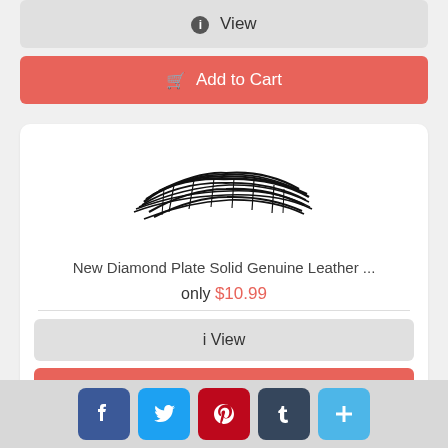[Figure (other): View button with info icon (grey rounded rectangle)]
[Figure (other): Add to Cart button (red/coral rounded rectangle with cart icon)]
[Figure (photo): Product image of diamond plate solid genuine leather item - black and white sketch-like product image]
New Diamond Plate Solid Genuine Leather ...
only $10.99
[Figure (other): View button with info icon (grey rounded rectangle)]
[Figure (other): Add to Cart button (red/coral rounded rectangle with cart icon, partially visible)]
[Figure (other): Social sharing bar with Facebook, Twitter, Pinterest, Tumblr, and More buttons]